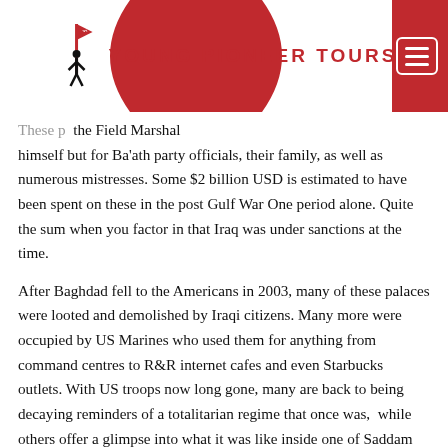Young Pioneer Tours
these palaces were not just for Field Marshal himself but for Ba'ath party officials, their family, as well as numerous mistresses. Some $2 billion USD is estimated to have been spent on these in the post Gulf War One period alone. Quite the sum when you factor in that Iraq was under sanctions at the time.
After Baghdad fell to the Americans in 2003, many of these palaces were looted and demolished by Iraqi citizens. Many more were occupied by US Marines who used them for anything from command centres to R&R internet cafes and even Starbucks outlets. With US troops now long gone, many are back to being decaying reminders of a totalitarian regime that once was,  while others offer a glimpse into what it was like inside one of Saddam Hussein's Palaces.